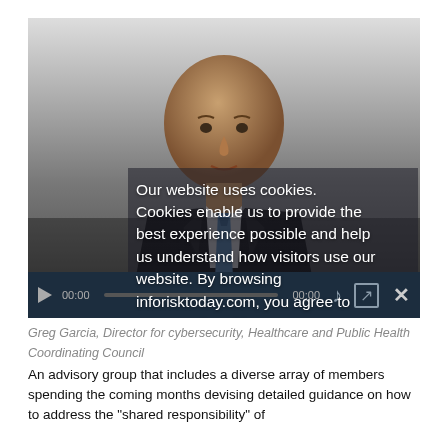[Figure (photo): Headshot of Greg Garcia, bald man in dark suit with blue tie, against grey background. A cookie consent overlay is visible on top, and a media player bar overlays the bottom of the image.]
Our website uses cookies. Cookies enable us to provide the best experience possible and help us understand how visitors use our website. By browsing inforisktoday.com, you agree to our use of cookies.
Greg Garcia, Director for cybersecurity, Healthcare and Public Health Coordinating Council
An advisory group that includes a diverse array of members spending the coming months devising detailed guidance on how to address the "shared responsibility" of